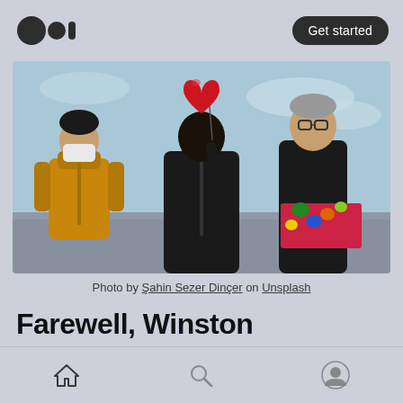Medium logo | Get started
[Figure (photo): Three people outdoors against a light blue sky. On the left, a young man wearing a yellow puffer jacket and a white face mask. In the center, a person in a black jacket with their back turned, holding a large red heart-shaped balloon. On the right, an older man in a black coat with a colorful floral cloth draped over the railing beside him.]
Photo by Şahin Sezer Dinçer on Unsplash
Farewell, Winston
We'll miss you
Home | Search | Profile